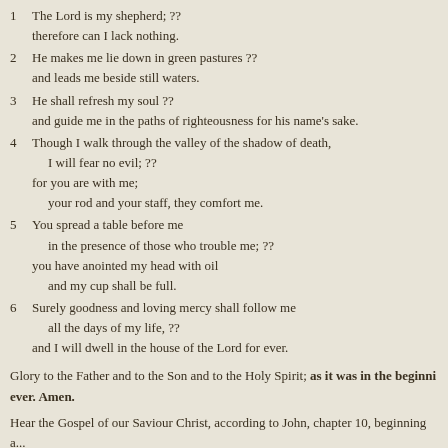1  The Lord is my shepherd; ??
    therefore can I lack nothing.
2  He makes me lie down in green pastures ??
    and leads me beside still waters.
3  He shall refresh my soul ??
    and guide me in the paths of righteousness for his name's sake.
4  Though I walk through the valley of the shadow of death,
        I will fear no evil; ??
    for you are with me;
        your rod and your staff, they comfort me.
5  You spread a table before me
        in the presence of those who trouble me; ??
    you have anointed my head with oil
        and my cup shall be full.
6  Surely goodness and loving mercy shall follow me
        all the days of my life, ??
    and I will dwell in the house of the Lord for ever.
Glory to the Father and to the Son and to the Holy Spirit; as it was in the beginning is now and shall be for ever. Amen.
Hear the Gospel of our Saviour Christ, according to John, chapter 10, beginning a... Glory to you, Lord Jesus Christ.
‘I am the good shepherd. The good shepherd lays down his life for the sheep. Th